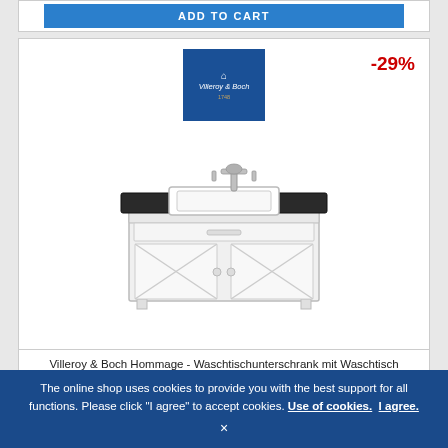[Figure (other): ADD TO CART button (blue)]
[Figure (photo): Villeroy & Boch Hommage vanity unit with sink, white cabinet with X-pattern glass doors, dark stone countertop, chrome faucet. Brand logo (Villeroy & Boch) shown in blue square top center. Discount badge -29% in red top right.]
Villeroy & Boch Hommage - Waschtischunterschrank mit Waschtisch 985 x 850 x 620 mm weiß CeramicPlus
The online shop uses cookies to provide you with the best support for all functions. Please click "I agree" to accept cookies. Use of cookies. I agree.